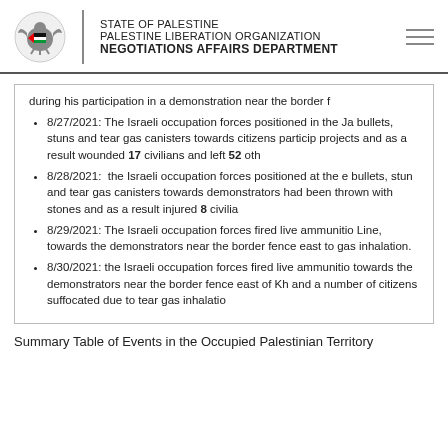STATE OF PALESTINE
PALESTINE LIBERATION ORGANIZATION
NEGOTIATIONS AFFAIRS DEPARTMENT
during his participation in a demonstration near the border f
8/27/2021: The Israeli occupation forces positioned in the Ja bullets, stuns and tear gas canisters towards citizens partici projects and as a result wounded 17 civilians and left 52 oth
8/28/2021: the Israeli occupation forces positioned at the e bullets, stun and tear gas canisters towards demonstrators had been thrown with stones and as a result injured 8 civilia
8/29/2021: The Israeli occupation forces fired live ammunitio Line, towards the demonstrators near the border fence east to gas inhalation.
8/30/2021: the Israeli occupation forces fired live ammunitio towards the demonstrators near the border fence east of Kh and a number of citizens suffocated due to tear gas inhalatio
Summary Table of Events in the Occupied Palestinian Territory